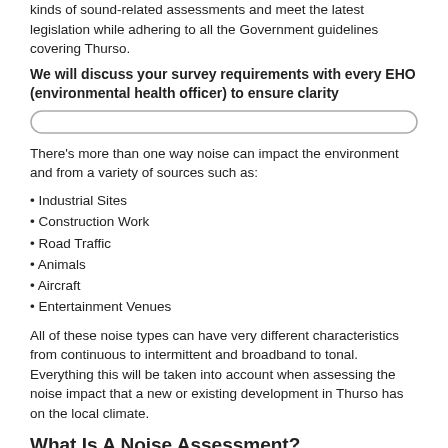kinds of sound-related assessments and meet the latest legislation while adhering to all the Government guidelines covering Thurso.
We will discuss your survey requirements with every EHO (environmental health officer) to ensure clarity
[Figure (other): A rounded rectangle input/search bar element]
There's more than one way noise can impact the environment and from a variety of sources such as:
Industrial Sites
Construction Work
Road Traffic
Animals
Aircraft
Entertainment Venues
All of these noise types can have very different characteristics from continuous to intermittent and broadband to tonal. Everything this will be taken into account when assessing the noise impact that a new or existing development in Thurso has on the local climate.
What Is A Noise Assessment?
You're likely to require a noise assessment when requesting planning permission in Thurso. This will tell you how your development will impact the surrounding area in terms of the noise created but also the impact the surrounding noise can have to your proposed development. The results can also predict how the property's noise will impact the area over significant lengths of time by taking a base reading of the existing level and then suggesting how, if at all, the new development will make an impact.